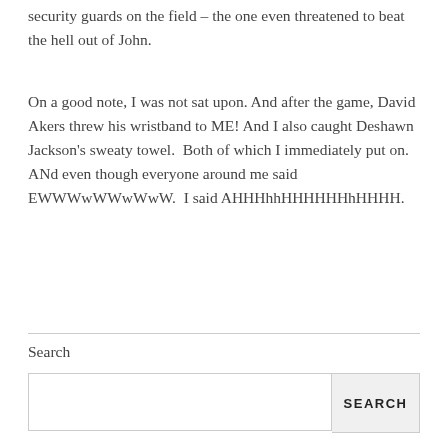security guards on the field – the one even threatened to beat the hell out of John.
On a good note, I was not sat upon. And after the game, David Akers threw his wristband to ME! And I also caught Deshawn Jackson's sweaty towel.  Both of which I immediately put on.  ANd even though everyone around me said EWWWwWWwWwW.  I said AHHHhhHHHHHHhHHHH.
Search